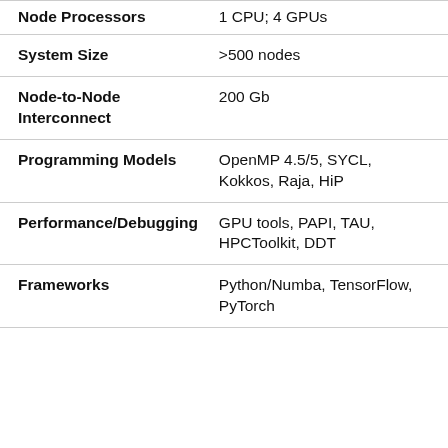| Property | Value |
| --- | --- |
| Node Processors | 1 CPU; 4 GPUs |
| System Size | >500 nodes |
| Node-to-Node Interconnect | 200 Gb |
| Programming Models | OpenMP 4.5/5, SYCL, Kokkos, Raja, HiP |
| Performance/Debugging | GPU tools, PAPI, TAU, HPCToolkit, DDT |
| Frameworks | Python/Numba, TensorFlow, PyTorch |